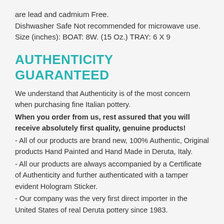are lead and cadmium Free.
Dishwasher Safe Not recommended for microwave use.
Size (inches): BOAT: 8W. (15 Oz.) TRAY: 6 X 9
AUTHENTICITY GUARANTEED
We understand that Authenticity is of the most concern when purchasing fine Italian pottery.
When you order from us, rest assured that you will receive absolutely first quality, genuine products!
- All of our products are brand new, 100% Authentic, Original products Hand Painted and Hand Made in Deruta, Italy.
- All our products are always accompanied by a Certificate of Authenticity and further authenticated with a tamper evident Hologram Sticker.
- Our company was the very first direct importer in the United States of real Deruta pottery since 1983.